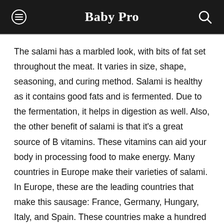Baby Pro
The salami has a marbled look, with bits of fat set throughout the meat. It varies in size, shape, seasoning, and curing method. Salami is healthy as it contains good fats and is fermented. Due to the fermentation, it helps in digestion as well. Also, the other benefit of salami is that it's a great source of B vitamins. These vitamins can aid your body in processing food to make energy. Many countries in Europe make their varieties of salami. In Europe, these are the leading countries that make this sausage: France, Germany, Hungary, Italy, and Spain. These countries make a hundred million kilograms per year. Also, the multiple versions of salami have their individual cultural and flavor profiles globally.
One of the most common salami varieties you can discover